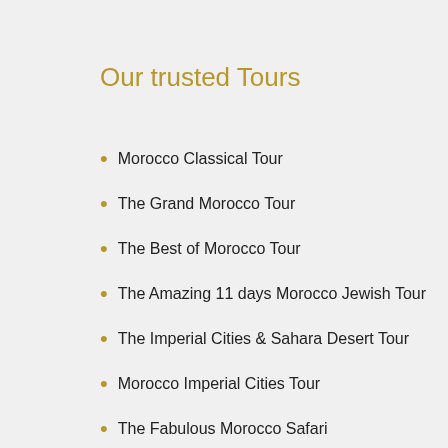Our trusted Tours
Morocco Classical Tour
The Grand Morocco Tour
The Best of Morocco Tour
The Amazing 11 days Morocco Jewish Tour
The Imperial Cities & Sahara Desert Tour
Morocco Imperial Cities Tour
The Fabulous Morocco Safari
Discover